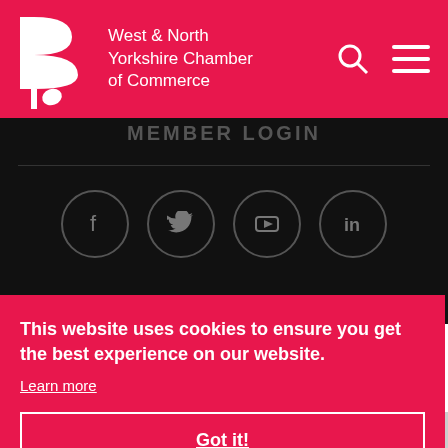West & North Yorkshire Chamber of Commerce
[Figure (screenshot): Social media icons row: Facebook, Twitter, YouTube, LinkedIn — circular outlined icons on black background]
This website uses cookies to ensure you get the best experience on our website.
Learn more
Got it!